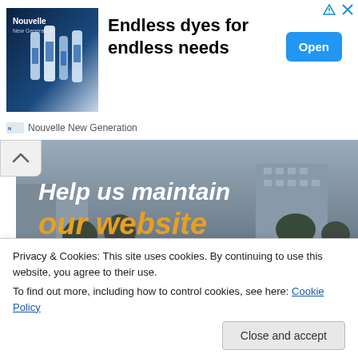[Figure (infographic): Advertisement banner for Nouvelle New Generation hair dye products with product bottles on left, bold headline text in center, and a blue Open button on the right. Corner icons for ad info and close (X) in top right.]
[Figure (infographic): Website promotional image with a dark greyscale street/city photo background, large white italic text 'Help us maintain' and large gold italic text 'our website', small URL text 'WWW.ANDREAGUANCO.COM' in the middle, and a dark red donation banner at the bottom reading 'DONATE TO OUR CAUSE VIA GCASH | ANDREA O GUANCO | 09060625235']
Privacy & Cookies: This site uses cookies. By continuing to use this website, you agree to their use.
To find out more, including how to control cookies, see here: Cookie Policy
Close and accept